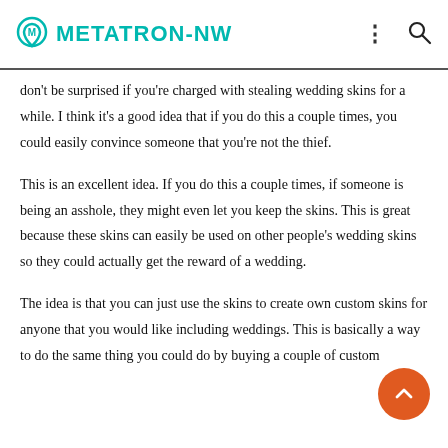METATRON-NW
don't be surprised if you're charged with stealing wedding skins for a while. I think it's a good idea that if you do this a couple times, you could easily convince someone that you're not the thief.
This is an excellent idea. If you do this a couple times, if someone is being an asshole, they might even let you keep the skins. This is great because these skins can easily be used on other people's wedding skins so they could actually get the reward of a wedding.
The idea is that you can just use the skins to create own custom skins for anyone that you would like including weddings. This is basically a way to do the same thing you could do by buying a couple of custom